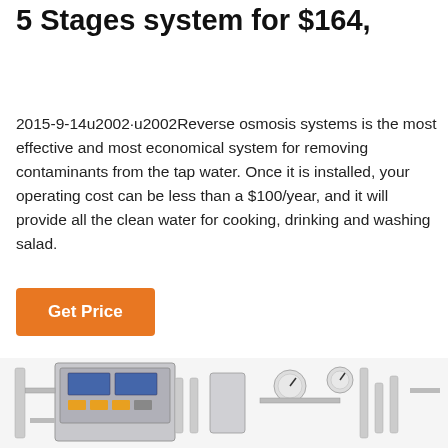5 Stages system for $164,
2015-9-14u2002·u2002Reverse osmosis systems is the most effective and most economical system for removing contaminants from the tap water. Once it is installed, your operating cost can be less than a $100/year, and it will provide all the clean water for cooking, drinking and washing salad.
[Figure (other): Button labeled 'Get Price' with orange background]
[Figure (photo): Industrial reverse osmosis water purification system with stainless steel components, pipes, gauges and control panel]